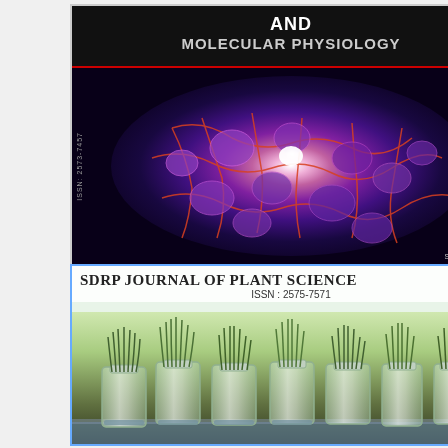[Figure (photo): Journal cover with black background showing text 'AND MOLECULAR PHYSIOLOGY' and fluorescence microscopy image of cells with purple/magenta/red staining, bright white center, with ISSN vertical text on left side and 'SDs Desk Journals' badge at bottom right]
[Figure (photo): Journal cover for 'SDRP JOURNAL OF PLANT SCIENCE' with ISSN: 2575-7571, showing photograph of plant tissue culture in glass containers/tubes with bright green shoots growing]